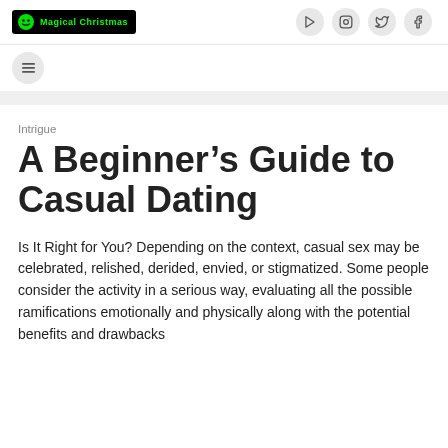Magical Christmas
Intrigue
A Beginner’s Guide to Casual Dating
Is It Right for You? Depending on the context, casual sex may be celebrated, relished, derided, envied, or stigmatized. Some people consider the activity in a serious way, evaluating all the possible ramifications emotionally and physically along with the potential benefits and drawbacks